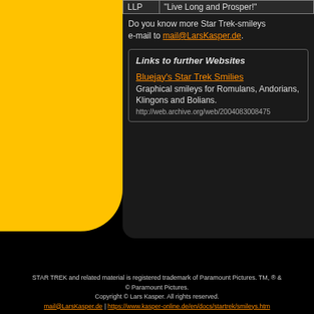| LLP | "Live Long and Prosper!" |
Do you know more Star Trek-smileys e-mail to mail@LarsKasper.de.
Links to further Websites
Bluejay's Star Trek Smilies
Graphical smileys for Romulans, Andorians, Klingons and Bolians.
http://web.archive.org/web/2004083008475...
STAR TREK and related material is registered trademark of Paramount Pictures. TM, ® & © Paramount Pictures. Copyright © Lars Kasper. All rights reserved.
mail@LarsKasper.de | https://www.kasper-online.de/en/docs/startrek/smileys.htm